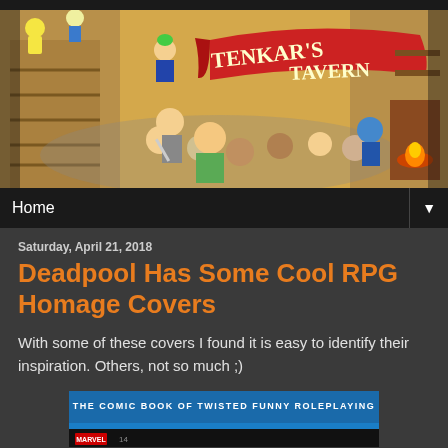[Figure (illustration): Tenkar's Tavern banner illustration showing cartoon characters in a chaotic tavern scene with a red banner reading TENKAR'S TAVERN]
Home ▼
Saturday, April 21, 2018
Deadpool Has Some Cool RPG Homage Covers
With some of these covers I found it is easy to identify their inspiration. Others, not so much ;)
[Figure (screenshot): Bottom portion of a comic book cover showing 'THE COMIC BOOK OF TWISTED FUNNY ROLEPLAYING' with Marvel logo]